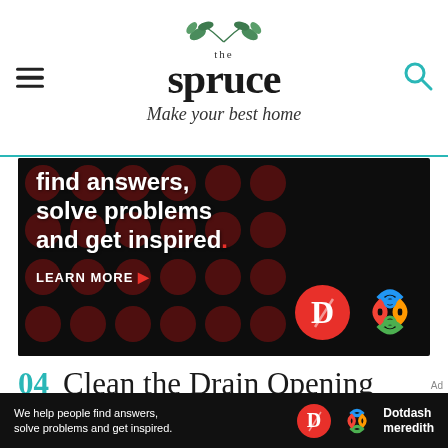the spruce – Make your best home
[Figure (screenshot): Advertisement banner: black background with dark red polka dots pattern. Text reads 'find answers, solve problems and get inspired.' with 'LEARN MORE ▶' button and Dotdash Meredith logos.]
04 Clean the Drain Opening
Use a flathead screwdriver or a putty knife and a rag to remove the old ring of
[Figure (screenshot): Bottom advertisement bar: black background. Text 'We help people find answers, solve problems and get inspired.' with Dotdash Meredith logo on right.]